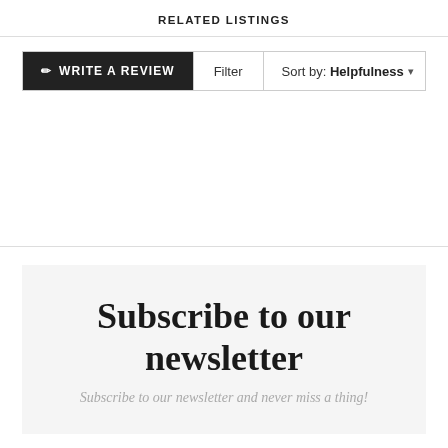RELATED LISTINGS
✏ WRITE A REVIEW   Filter   Sort by: Helpfulness ▾
Subscribe to our newsletter
Subscribe to our newsletter and never miss a thing!